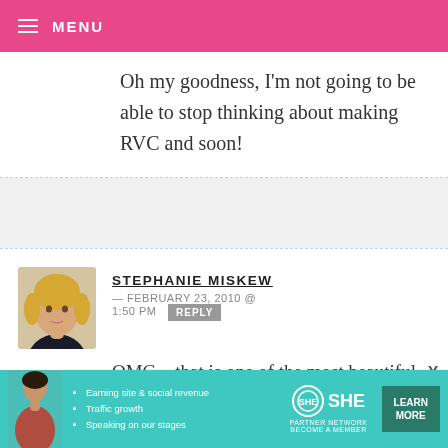MENU
Oh my goodness, I'm not going to be able to stop thinking about making RVC and soon!
STEPHANIE MISKEW — FEBRUARY 23, 2010 @ 1:50 PM REPLY
OMG – that is one of the most beautiful red velvet cakes I have ever seen! Love the white cake stand too. I am completely infatuated with red velvet in any form – had my first piece of
[Figure (infographic): SHE Partner Network advertisement banner with person, bullet points: Earning site & social revenue, Traffic growth, Speaking on our stages, SHE logo, BECOME A MEMBER, LEARN MORE button]